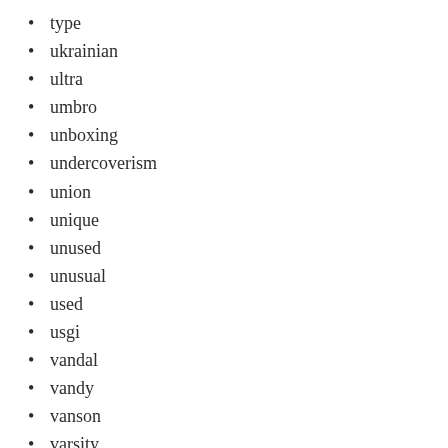type
ukrainian
ultra
umbro
unboxing
undercoverism
union
unique
unused
unusual
used
usgi
vandal
vandy
vanson
varsity
vera